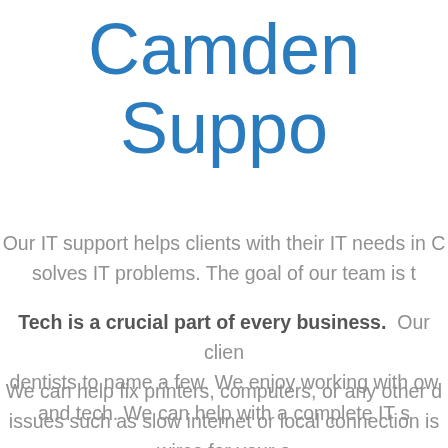Camden Suppo
Our IT support helps clients with their IT needs in C solves IT problems. The goal of our team is t
Tech is a crucial part of every business. Our clien dentists to name a few. We enjoy working with ow and tech. We can help with a complete IT s
We can help fix printers, computers, or any other d issues such as slow internet or local connection is wires for your o